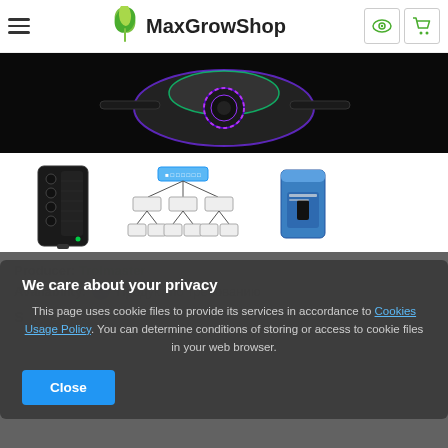MaxGrowShop — navigation header with hamburger menu, logo, eye icon, and cart icon
[Figure (photo): Hero product image: dark background with a tech device (camera/sensor) with green/purple LED outline effect]
[Figure (photo): Thumbnail 1: Black multi-port device (Trolmaster controller unit)]
[Figure (schematic): Thumbnail 2: Wiring diagram schematic showing a hub connected to multiple sensor nodes]
[Figure (photo): Thumbnail 3: Blue box device (sensor/accessory)]
Producer: Trolmaster
Availability: Продукт по требованию
We care about your privacy
This page uses cookie files to provide its services in accordance to Cookies Usage Policy. You can determine conditions of storing or access to cookie files in your web browser.
Close